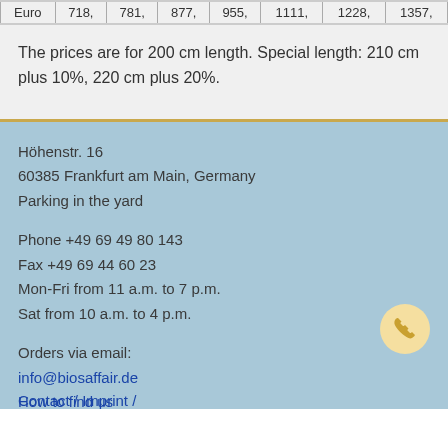| Euro | 718, | 781, | 877, | 955, | 1111, | 1228, | 1357, |
| --- | --- | --- | --- | --- | --- | --- | --- |
The prices are for 200 cm length. Special length: 210 cm plus 10%, 220 cm plus 20%.
Höhenstr. 16
60385 Frankfurt am Main, Germany
Parking in the yard
Phone +49 69 49 80 143
Fax +49 69 44 60 23
Mon-Fri from 11 a.m. to 7 p.m.
Sat from 10 a.m. to 4 p.m.
Orders via email:
info@biosaffair.de
How to find us
Contact / Imprint /